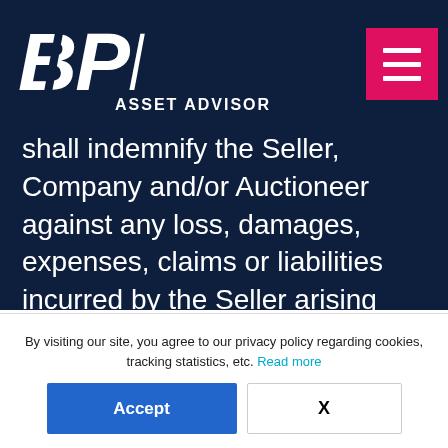[Figure (logo): BPI Asset Advisory logo — white stylized bold italic letters BPI above text ASSET ADVISORY on dark navy background]
shall indemnify the Seller, Company and/or Auctioneer against any loss, damages, expenses, claims or liabilities incurred by the Seller arising from the Buyer's failure to remove the Lot
By visiting our site, you agree to our privacy policy regarding cookies, tracking statistics, etc. Read more
Accept
X